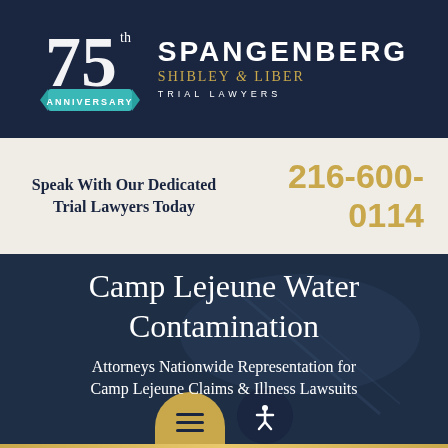[Figure (logo): Spangenberg Shibley & Liber Trial Lawyers 75th Anniversary logo on dark navy background]
Speak With Our Dedicated Trial Lawyers Today
216-600-0114
Camp Lejeune Water Contamination
Attorneys Nationwide Representation for Camp Lejeune Claims & Illness Lawsuits